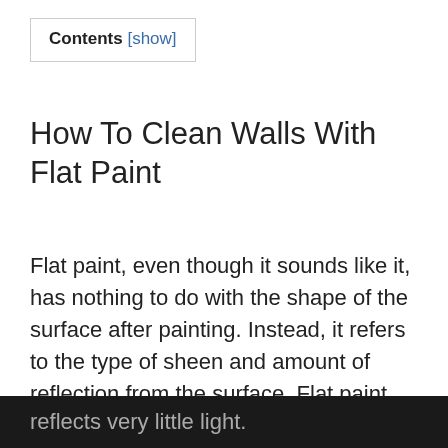Contents [show]
How To Clean Walls With Flat Paint
Flat paint, even though it sounds like it, has nothing to do with the shape of the surface after painting. Instead, it refers to the type of sheen and amount of reflection from the surface. Flat paint has a matte surface, which means it reflects very little light.